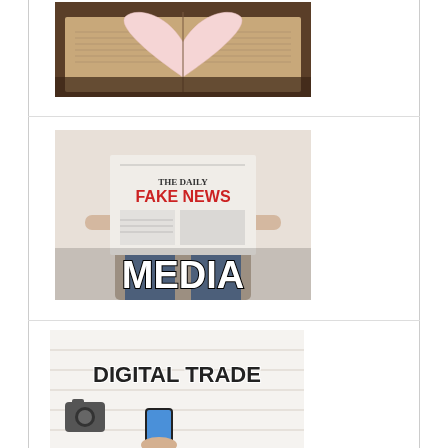[Figure (photo): Open book with pages folded into a heart shape, warm brown tones]
[Figure (photo): Person holding newspaper 'The Daily Fake News' covering their face, with bold white text 'MEDIA' overlaid at the bottom]
[Figure (photo): White wooden surface overhead shot with 'DIGITAL TRADE' text, camera, and smartphone visible]